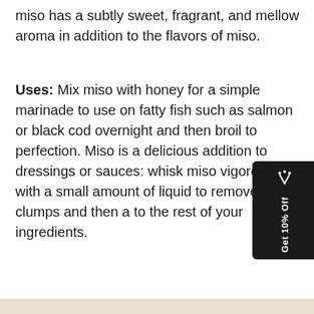miso has a subtly sweet, fragrant, and mellow aroma in addition to the flavors of miso.
Uses: Mix miso with honey for a simple marinade to use on fatty fish such as salmon or black cod overnight and then broil to perfection. Miso is a delicious addition to dressings or sauces: whisk miso vigorously with a small amount of liquid to remove clumps and then add to the rest of your ingredients.